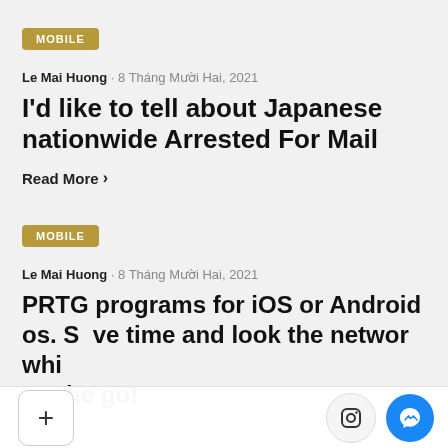MOBILE
Le Mai Huong · 8 Tháng Mười Hai, 2021
I'd like to tell about Japanese nationwide Arrested For Mail
Read More >
MOBILE
Le Mai Huong · 8 Tháng Mười Hai, 2021
PRTG programs for iOS or Android os. Save time and look the network while on the go!